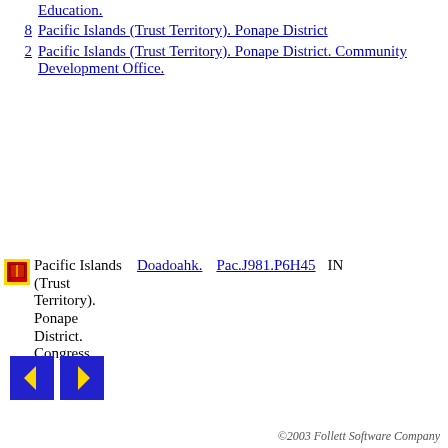Education.
8  Pacific Islands (Trust Territory). Ponape District
2  Pacific Islands (Trust Territory). Ponape District. Community Development Office.
Pacific Islands (Trust Territory). Ponape District. Congress.  Doadoahk.  Pac.J981.P6H45  IN
©2003 Follett Software Company